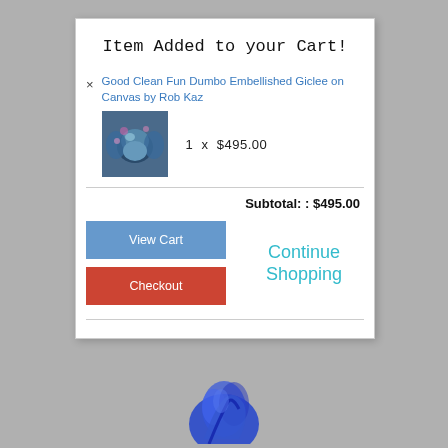Item Added to your Cart!
Good Clean Fun Dumbo Embellished Giclee on Canvas by Rob Kaz
1  x  $495.00
Subtotal: : $495.00
View Cart
Checkout
Continue Shopping
[Figure (photo): Small thumbnail image of the Dumbo artwork - colorful painting of Dumbo the elephant in blue/teal tones]
[Figure (illustration): Partial blue illustration/artwork visible at the bottom of the page below the modal dialog]